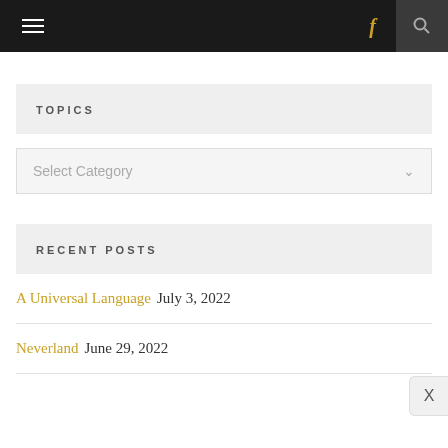≡  f  🔍
TOPICS
Select Category
RECENT POSTS
A Universal Language  July 3, 2022
Neverland  June 29, 2022